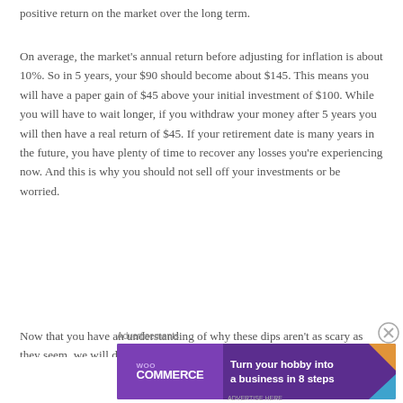positive return on the market over the long term.
On average, the market's annual return before adjusting for inflation is about 10%. So in 5 years, your $90 should become about $145. This means you will have a paper gain of $45 above your initial investment of $100. While you will have to wait longer, if you withdraw your money after 5 years you will then have a real return of $45. If your retirement date is many years in the future, you have plenty of time to recover any losses you're experiencing now. And this is why you should not sell off your investments or be worried.
Now that you have an understanding of why these dips aren't as scary as they seem, we will discuss how you can
[Figure (other): WooCommerce advertisement banner: 'Turn your hobby into a business in 8 steps']